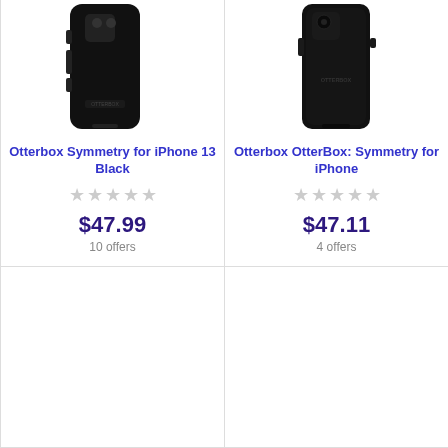[Figure (photo): Black Otterbox Symmetry case for iPhone 13, shown from back/side angle]
Otterbox Symmetry for iPhone 13 Black
★★★★★ (empty stars rating)
$47.99
10 offers
[Figure (photo): Black Otterbox Symmetry case for iPhone, shown from back flat angle with OTTERBOX logo]
Otterbox OtterBox: Symmetry for iPhone
★★★★★ (empty stars rating)
$47.11
4 offers